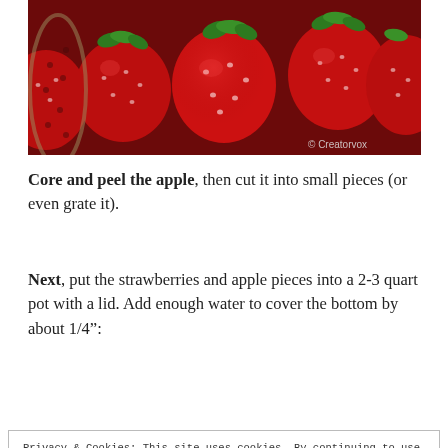[Figure (photo): Close-up photo of fresh red strawberries in a colander/strainer. Copyright watermark reads '© Creatorvox' in bottom right corner.]
Core and peel the apple, then cut it into small pieces (or even grate it).
Next, put the strawberries and apple pieces into a 2-3 quart pot with a lid. Add enough water to cover the bottom by about 1/4":
Privacy & Cookies: This site uses cookies. By continuing to use this website, you agree to their use.
To find out more, including how to control cookies, see here: Cookie Policy
Close and accept
[Figure (photo): Partial photo at bottom of page showing strawberries and apple pieces in a pot.]